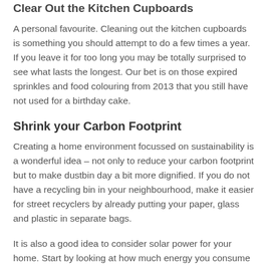Clear Out the Kitchen Cupboards
A personal favourite. Cleaning out the kitchen cupboards is something you should attempt to do a few times a year. If you leave it for too long you may be totally surprised to see what lasts the longest. Our bet is on those expired sprinkles and food colouring from 2013 that you still have not used for a birthday cake.
Shrink your Carbon Footprint
Creating a home environment focussed on sustainability is a wonderful idea – not only to reduce your carbon footprint but to make dustbin day a bit more dignified. If you do not have a recycling bin in your neighbourhood, make it easier for street recyclers by already putting your paper, glass and plastic in separate bags.
It is also a good idea to consider solar power for your home. Start by looking at how much energy you consume monthly and decide how much a start-up